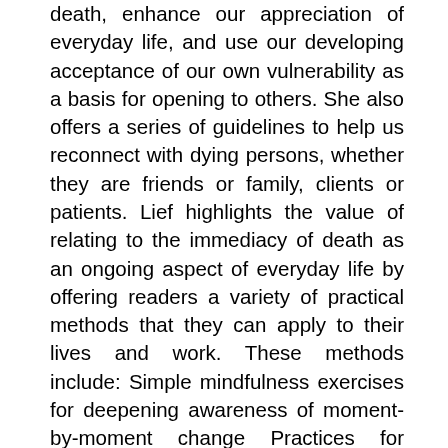death, enhance our appreciation of everyday life, and use our developing acceptance of our own vulnerability as a basis for opening to others. She also offers a series of guidelines to help us reconnect with dying persons, whether they are friends or family, clients or patients. Lief highlights the value of relating to the immediacy of death as an ongoing aspect of everyday life by offering readers a variety of practical methods that they can apply to their lives and work. These methods include: Simple mindfulness exercises for deepening awareness of moment-by-moment change Practices for cultivating loving-kindness Helpful slogans and guidelines for caregivers to use Making Friends with Death will enlighten anyone interested in coming to terms with their own mortality. More specifically, the contemplative approach presented here offers health professionals,